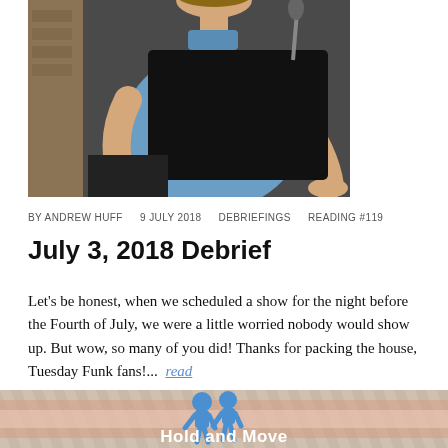[Figure (photo): Person in blue shirt standing at a dark podium or laptop, with brick wall background, performing or speaking at an event]
BY ANDREW HUFF   9 JULY 2018   DEBRIEFINGS   READING #119
July 3, 2018 Debrief
Let's be honest, when we scheduled a show for the night before the Fourth of July, we were a little worried nobody would show up. But wow, so many of you did! Thanks for packing the house, Tuesday Funk fans!...  read
[Figure (advertisement): Hold and Move advertisement banner with blue cartoon figures and striped background]